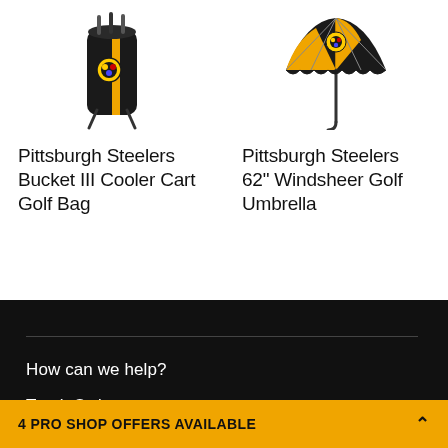[Figure (photo): Pittsburgh Steelers Bucket III Cooler Cart Golf Bag product image — black and yellow golf bag with Steelers logo]
Pittsburgh Steelers Bucket III Cooler Cart Golf Bag
[Figure (photo): Pittsburgh Steelers 62" Windsheer Golf Umbrella product image — black and yellow umbrella with Steelers logo]
Pittsburgh Steelers 62" Windsheer Golf Umbrella
How can we help?
Track Order
4 PRO SHOP OFFERS AVAILABLE